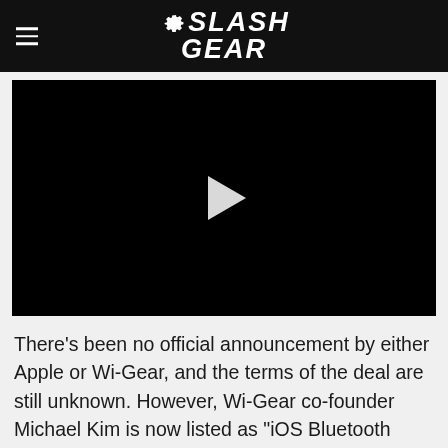SlashGear
[Figure (screenshot): Black video player with white play button triangle in the center]
There's been no official announcement by either Apple or Wi-Gear, and the terms of the deal are still unknown. However, Wi-Gear co-founder Michael Kim is now listed as "iOS Bluetooth Engineer at Apple" in his LinkedIn profile, where he has been employed since October